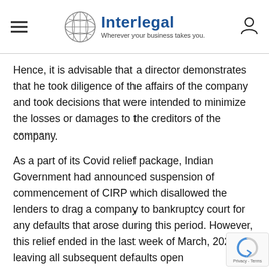Interlegal — Wherever your business takes you.
Hence, it is advisable that a director demonstrates that he took diligence of the affairs of the company and took decisions that were intended to minimize the losses or damages to the creditors of the company.
As a part of its Covid relief package, Indian Government had announced suspension of commencement of CIRP which disallowed the lenders to drag a company to bankruptcy court for any defaults that arose during this period. However, this relief ended in the last week of March, 2021, leaving all subsequent defaults open